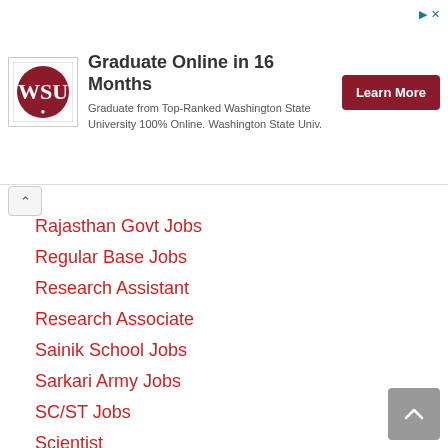[Figure (infographic): Advertisement banner: Washington State University logo on left, bold title 'Graduate Online in 16 Months', body text 'Graduate from Top-Ranked Washington State University 100% Online. Washington State Univ.', and a dark red 'Learn More' button on the right.]
Rajasthan Govt Jobs
Regular Base Jobs
Research Assistant
Research Associate
Sainik School Jobs
Sarkari Army Jobs
SC/ST Jobs
Scientist
Security Guard Jobs
Senior Research Fellow Jobs